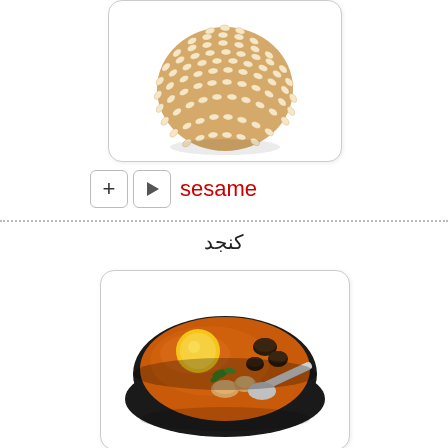[Figure (photo): A round ball covered entirely in sesame seeds, photographed on a white background]
+ ▶ sesame
کنجد
[Figure (photo): A black bowl filled with a rich orange/red soup containing egg yolk, meat chunks, mushrooms, and garnished with green herbs]